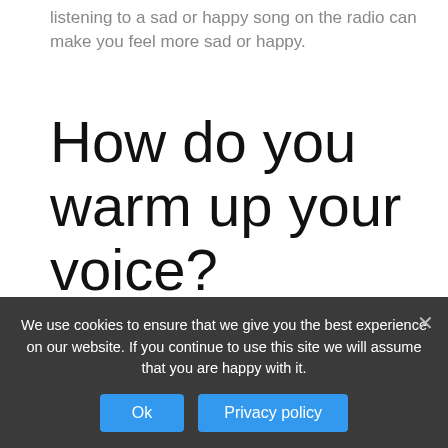listening to a sad or happy song on the radio can make you feel more sad or happy.
How do you warm up your voice?
9 best vocal warm-ups for singers
1. Yawn-sigh Technique. For this quick vocal exercise, simply yawn (take in air) with your mouth closed.
2. Humming warm-upS.
We use cookies to ensure that we give you the best experience on our website. If you continue to use this site we will assume that you are happy with it.